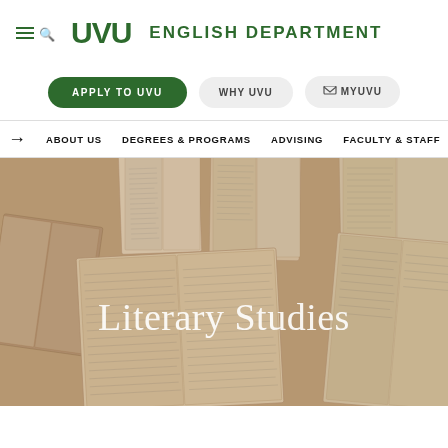UVU ENGLISH DEPARTMENT
APPLY TO UVU
WHY UVU
MYUVU
ABOUT US | DEGREES & PROGRAMS | ADVISING | FACULTY & STAFF
[Figure (photo): Hero image of many open books spread out face-down, overlapping, showing pages with text, warm beige/tan tones.]
Literary Studies